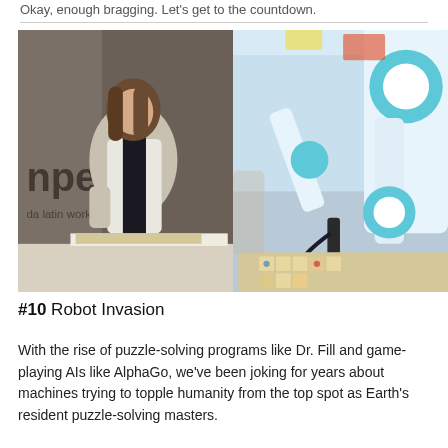Okay, enough bragging. Let's get to the countdown.
[Figure (photo): Two-panel photo: left side shows a woman with brown hair sitting at a table playing Scrabble; right side shows a robotic arm (teal/white) positioned over the same Scrabble board in an exhibition hall setting.]
#10 Robot Invasion
With the rise of puzzle-solving programs like Dr. Fill and game-playing AIs like AlphaGo, we've been joking for years about machines trying to topple humanity from the top spot as Earth's resident puzzle-solving masters.